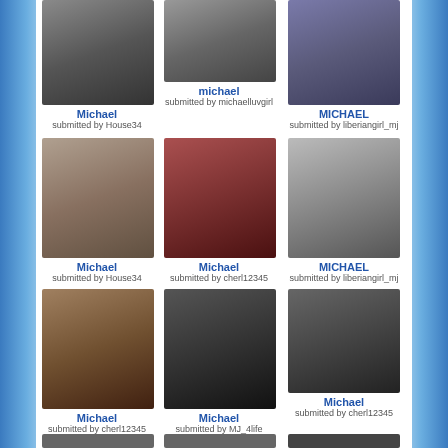[Figure (photo): Michael Jackson in performance costume with silver accessories]
Michael
submitted by House34
[Figure (photo): Michael Jackson in dark jacket]
michael
submitted by michaelluvgirl
[Figure (photo): Michael Jackson in colorful jacket]
MICHAEL
submitted by liberiangirl_mj
[Figure (photo): Michael Jackson in white shirt outdoors]
Michael
submitted by House34
[Figure (photo): Michael Jackson sitting in red chairs]
Michael
submitted by cherl12345
[Figure (photo): Michael Jackson in black and white photo with others]
MICHAEL
submitted by liberiangirl_mj
[Figure (photo): Michael Jackson in military-style jacket]
Michael
submitted by cherl12345
[Figure (photo): Michael Jackson in black hat and outfit]
Michael
submitted by MJ_4life
[Figure (photo): Michael Jackson with sunglasses close-up]
Michael
submitted by cherl12345
[Figure (photo): Michael Jackson partial photo row 4 left]
[Figure (photo): Michael Jackson partial photo row 4 center]
[Figure (photo): Michael Jackson partial photo row 4 right]